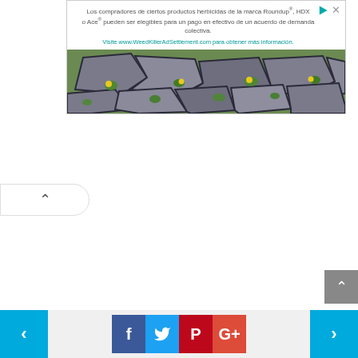[Figure (screenshot): Advertisement banner in Spanish for Roundup/HDX/Ace herbicide class action settlement. Text reads: 'Los compradores de ciertos productos herbicidas de la marca Roundup®, HDX o Ace® pueden ser elegibles para un pago en efectivo de un acuerdo de demanda colectiva. Visite www.WeedKillerAdSettlement.com para obtener más información.' Below the text is a photo of stone pavers with green weeds and yellow flowers growing between them.]
[Figure (screenshot): Collapse/scroll-up button: white pill-shaped tab with an up-arrow caret on the left side of the page.]
[Figure (screenshot): Gray scroll-to-top button with white up-arrow caret on the right edge of the page.]
[Figure (screenshot): Bottom navigation bar with blue left-arrow previous button, social share icons (Facebook blue, Twitter cyan, Pinterest red, Google+ red-orange), and blue right-arrow next button.]